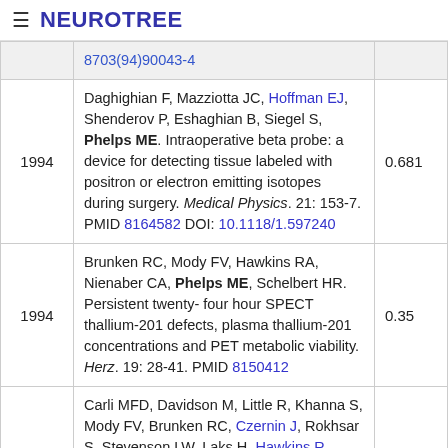≡ NEUROTREE
| Year | Reference | Score |
| --- | --- | --- |
|  | 8703(94)90043-4 |  |
| 1994 | Daghighian F, Mazziotta JC, Hoffman EJ, Shenderov P, Eshaghian B, Siegel S, Phelps ME. Intraoperative beta probe: a device for detecting tissue labeled with positron or electron emitting isotopes during surgery. Medical Physics. 21: 153-7. PMID 8164582 DOI: 10.1118/1.597240 | 0.681 |
| 1994 | Brunken RC, Mody FV, Hawkins RA, Nienaber CA, Phelps ME, Schelbert HR. Persistent twenty-four hour SPECT thallium-201 defects, plasma thallium-201 concentrations and PET metabolic viability. Herz. 19: 28-41. PMID 8150412 | 0.35 |
| 1994 | Carli MFD, Davidson M, Little R, Khanna S, Mody FV, Brunken RC, Czernin J, Rokhsar S, Stevenson LW, Laks H, Hawkins R, Schelbert HR, Phelps ME, Maddahi J. Value of metabolic imaging with positron emission tomography for evaluating prognosis in patients with coronary | 0.333 |